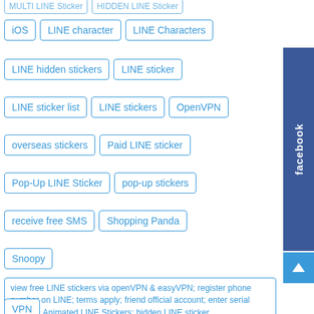iOS
LINE character
LINE Characters
LINE hidden stickers
LINE sticker
LINE sticker list
LINE stickers
OpenVPN
overseas stickers
Paid LINE sticker
Pop-Up LINE Sticker
pop-up stickers
receive free SMS
Shopping Panda
Snoopy
view free LINE stickers via openVPN & easyVPN; register phone number on LINE; terms apply; friend official account; enter serial number. Animated LINE Stickers; hidden LINE sticker
VPN